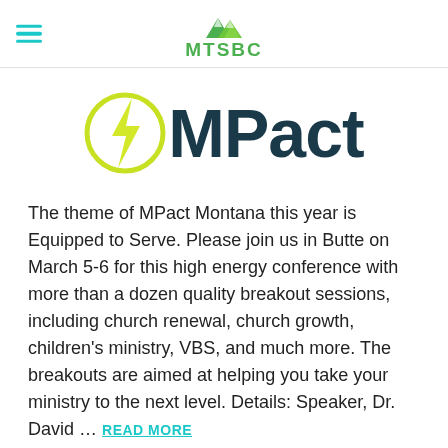MTSBC
[Figure (logo): MPact logo with yellow lightning bolt icon and dark teal bold text reading MPact]
The theme of MPact Montana this year is Equipped to Serve. Please join us in Butte on March 5-6 for this high energy conference with more than a dozen quality breakout sessions, including church renewal, church growth, children's ministry, VBS, and much more. The breakouts are aimed at helping you take your ministry to the next level. Details: Speaker, Dr. David … READ MORE